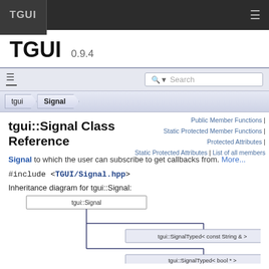TGUI
TGUI 0.9.4
tgui::Signal Class Reference
Public Member Functions | Static Protected Member Functions | Protected Attributes | Static Protected Attributes | List of all members
Signal to which the user can subscribe to get callbacks from. More...
#include <TGUI/Signal.hpp>
Inheritance diagram for tgui::Signal:
[Figure (engineering-diagram): Inheritance diagram showing tgui::Signal as root node, with two child nodes: tgui::SignalTyped< const String & > and tgui::SignalTyped< bool * >]